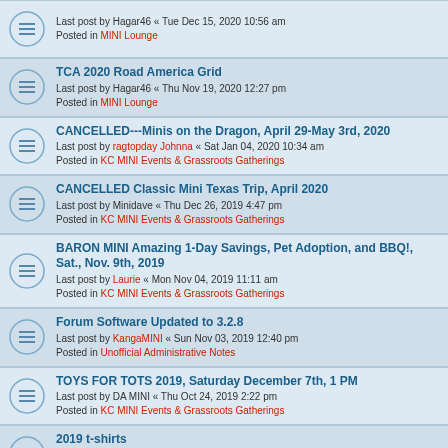Last post by Hagar46 « Tue Dec 15, 2020 10:56 am
Posted in MINI Lounge
TCA 2020 Road America Grid
Last post by Hagar46 « Thu Nov 19, 2020 12:27 pm
Posted in MINI Lounge
CANCELLED---Minis on the Dragon, April 29-May 3rd, 2020
Last post by ragtopday Johnna « Sat Jan 04, 2020 10:34 am
Posted in KC MINI Events & Grassroots Gatherings
CANCELLED Classic Mini Texas Trip, April 2020
Last post by Minidave « Thu Dec 26, 2019 4:47 pm
Posted in KC MINI Events & Grassroots Gatherings
BARON MINI Amazing 1-Day Savings, Pet Adoption, and BBQ!, Sat., Nov. 9th, 2019
Last post by Laurie « Mon Nov 04, 2019 11:11 am
Posted in KC MINI Events & Grassroots Gatherings
Forum Software Updated to 3.2.8
Last post by KangaMINI « Sun Nov 03, 2019 12:40 pm
Posted in Unofficial Administrative Notes
TOYS FOR TOTS 2019, Saturday December 7th, 1 PM
Last post by DA MINI « Thu Oct 24, 2019 2:22 pm
Posted in KC MINI Events & Grassroots Gatherings
2019 t-shirts
Last post by ragtopday Johnna « Wed Sep 25, 2019 8:28 am
Posted in Coopers and Coffee 2022
Baron MINI JCW Challenge Event - Sunday, October 6th
Last post by Zack « Sat Sep 14, 2019 4:24 pm